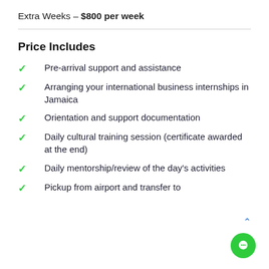Extra Weeks – $800 per week
Price Includes
Pre-arrival support and assistance
Arranging your international business internships in Jamaica
Orientation and support documentation
Daily cultural training session (certificate awarded at the end)
Daily mentorship/review of the day's activities
Pickup from airport and transfer to